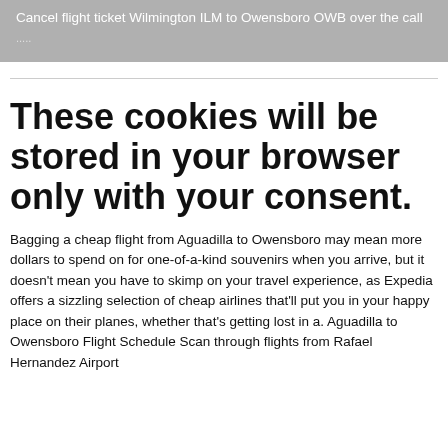Cancel flight ticket Wilmington ILM to Owensboro OWB over the call ...
These cookies will be stored in your browser only with your consent.
Bagging a cheap flight from Aguadilla to Owensboro may mean more dollars to spend on for one-of-a-kind souvenirs when you arrive, but it doesn't mean you have to skimp on your travel experience, as Expedia offers a sizzling selection of cheap airlines that'll put you in your happy place on their planes, whether that's getting lost in a. Aguadilla to Owensboro Flight Schedule Scan through flights from Rafael Hernandez Airport